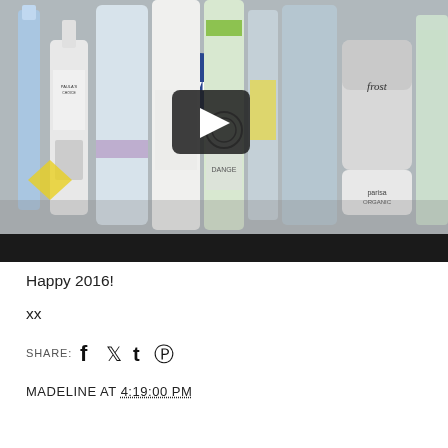[Figure (photo): Video thumbnail showing a collection of skincare and hair care products (NIVEA, Paula's Choice, Parisa Organic, Frost, etc.) lined up on a shelf, with a video play button overlay in the center.]
Happy 2016!
xx
SHARE:
MADELINE AT 4:19:00 PM